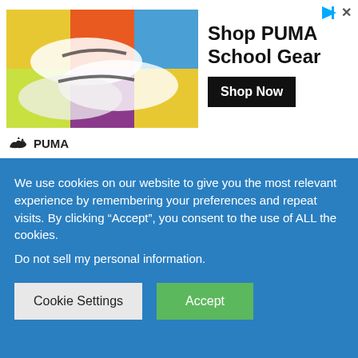[Figure (advertisement): PUMA School Gear advertisement banner with shoe image, headline 'Shop PUMA School Gear', Shop Now button, and PUMA brand logo.]
We use cookies on our website to give you the most relevant experience by remembering your preferences and repeat visits. By clicking “Accept”, you consent to the use of ALL the cookies.
Do not sell my personal information.
Cookie Settings
Accept